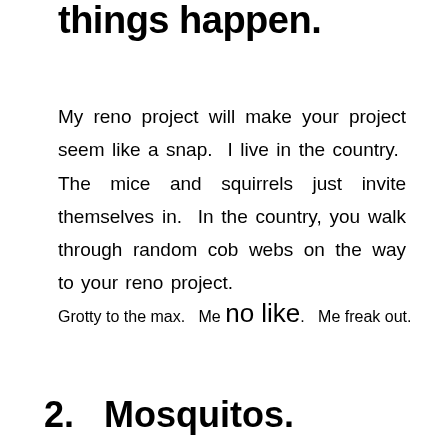things happen.
My reno project will make your project seem like a snap.  I live in the country.  The mice and squirrels just invite themselves in.  In the country, you walk through random cob webs on the way to your reno project.
Grotty to the max.   Me no like.   Me freak out.
2.   Mosquitos.